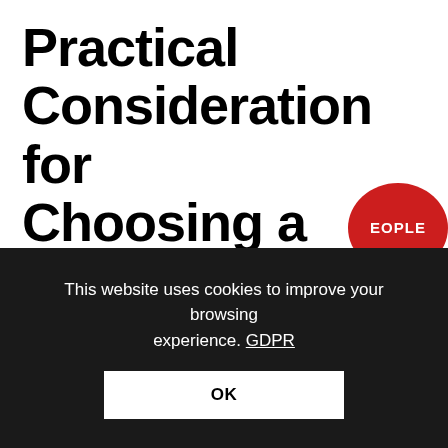Practical Consideration for Choosing a Vehicle
First, decide what you want and need with your budget. There is probably already conflict going on wit
This website uses cookies to improve your browsing experience. GDPR
OK